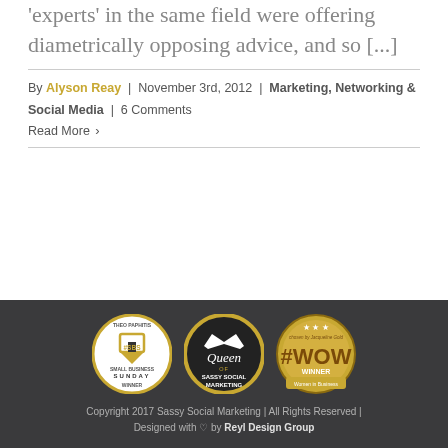'experts' in the same field were offering diametrically opposing advice, and so [...]
By Alyson Reay | November 3rd, 2012 | Marketing, Networking & Social Media | 6 Comments
Read More ›
[Figure (logo): Three award badges: #SBS Small Business Sunday Winner (Theo Paphitis), Queen of Sassy Social Marketing, and #WOW Winner Women in Business (Jacqueline Gold)]
Copyright 2017 Sassy Social Marketing | All Rights Reserved | Designed with ♡ by Reyl Design Group